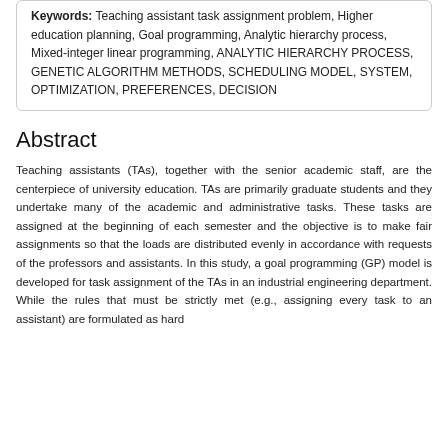Keywords: Teaching assistant task assignment problem, Higher education planning, Goal programming, Analytic hierarchy process, Mixed-integer linear programming, ANALYTIC HIERARCHY PROCESS, GENETIC ALGORITHM METHODS, SCHEDULING MODEL, SYSTEM, OPTIMIZATION, PREFERENCES, DECISION
Abstract
Teaching assistants (TAs), together with the senior academic staff, are the centerpiece of university education. TAs are primarily graduate students and they undertake many of the academic and administrative tasks. These tasks are assigned at the beginning of each semester and the objective is to make fair assignments so that the loads are distributed evenly in accordance with requests of the professors and assistants. In this study, a goal programming (GP) model is developed for task assignment of the TAs in an industrial engineering department. While the rules that must be strictly met (e.g., assigning every task to an assistant) are formulated as hard